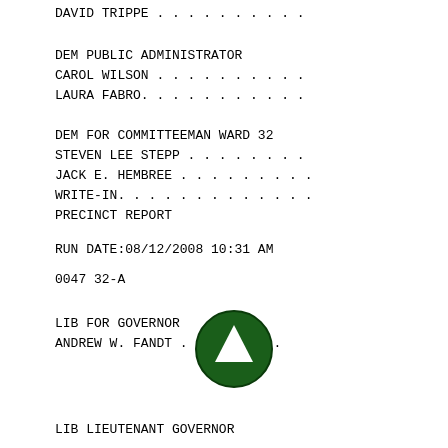DAVID TRIPPE . . . . . . . . . .
DEM PUBLIC ADMINISTRATOR
CAROL WILSON . . . . . . . . . .
LAURA FABRO. . . . . . . . . . .
DEM FOR COMMITTEEMAN WARD 32
STEVEN LEE STEPP . . . . . . . .
JACK E. HEMBREE . . . . . . . . .
WRITE-IN. . . . . . . . . . . . .
PRECINCT REPORT
RUN DATE:08/12/2008 10:31 AM
0047 32-A
LIB FOR GOVERNOR
ANDREW W. FI[arrow]ANDT . . . . . .
LIB LIEUTENANT GOVERNOR